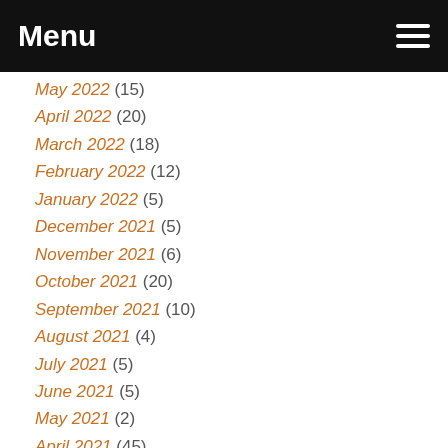Menu
May 2022 (15)
April 2022 (20)
March 2022 (18)
February 2022 (12)
January 2022 (5)
December 2021 (5)
November 2021 (6)
October 2021 (20)
September 2021 (10)
August 2021 (4)
July 2021 (5)
June 2021 (5)
May 2021 (2)
April 2021 (45)
March 2021 (61)
February 2021 (56)
January 2021 (55)
December 2020 (50)
November 2020 (54)